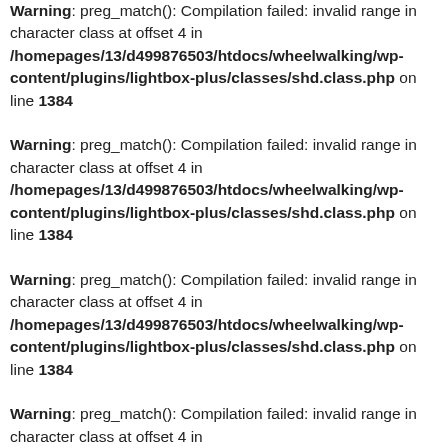Warning: preg_match(): Compilation failed: invalid range in character class at offset 4 in /homepages/13/d499876503/htdocs/wheelwalking/wp-content/plugins/lightbox-plus/classes/shd.class.php on line 1384
Warning: preg_match(): Compilation failed: invalid range in character class at offset 4 in /homepages/13/d499876503/htdocs/wheelwalking/wp-content/plugins/lightbox-plus/classes/shd.class.php on line 1384
Warning: preg_match(): Compilation failed: invalid range in character class at offset 4 in /homepages/13/d499876503/htdocs/wheelwalking/wp-content/plugins/lightbox-plus/classes/shd.class.php on line 1384
Warning: preg_match(): Compilation failed: invalid range in character class at offset 4 in